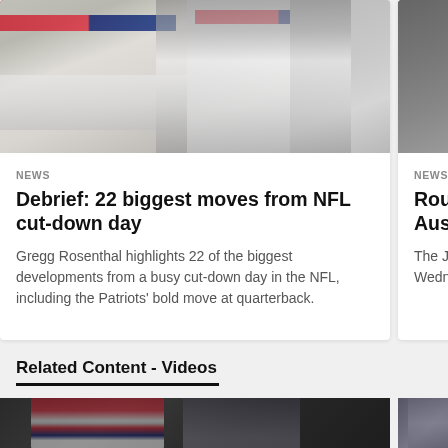[Figure (photo): Two NFL players in New England Patriots uniforms (white with red/blue stripes), one wearing a red helmet; partially cut on right a player in a hoodie]
NEWS
Debrief: 22 biggest moves from NFL cut-down day
Gregg Rosenthal highlights 22 of the biggest developments from a busy cut-down day in the NFL, including the Patriots' bold move at quarterback.
[Figure (photo): Partially visible right card image of an NFL player, dark background]
NEWS
Roundup former fi Austin
The Jets work on Wednesda around the N
Related Content - Videos
[Figure (photo): Bottom thumbnail images of NFL players, partially visible]
[Figure (photo): Bottom right thumbnail, partially visible]